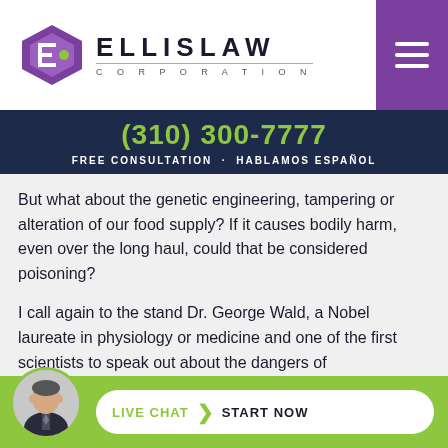[Figure (logo): Ellis Law Corporation logo with purple diamond/E geometric icon and ELLISLAW CORPORATION text]
(310) 300-7777
FREE CONSULTATION · HABLAMOS ESPAÑOL
But what about the genetic engineering, tampering or alteration of our food supply? If it causes bodily harm, even over the long haul, could that be considered poisoning?
I call again to the stand Dr. George Wald, a Nobel laureate in physiology or medicine and one of the first scientists to speak out about the dangers of gene...
[Figure (infographic): Live Chat Start Now button with lawyer avatar photo at bottom of page]